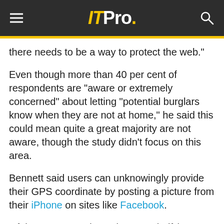ITPro.
there needs to be a way to protect the web."
Even though more than 40 per cent of respondents are "aware or extremely concerned" about letting "potential burglars know when they are not at home," he said this could mean quite a great majority are not aware, though the study didn't focus on this area.
Bennett said users can unknowingly provide their GPS coordinate by posting a picture from their iPhone on sites like Facebook.
Of the UK respondents, just over half (52 per cent) tag their whereabouts in a photograph online, the survey said.